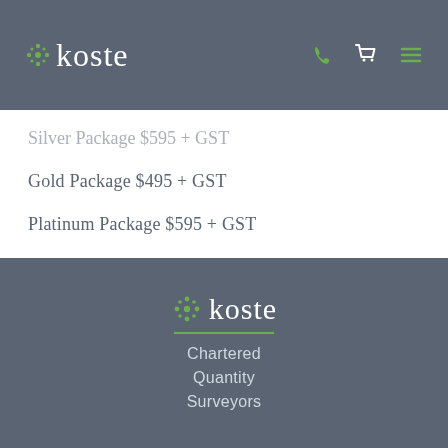koste
Silver Package $595 + GST
Gold Package $495 + GST
Platinum Package $595 + GST
[Figure (logo): Koste Chartered Quantity Surveyors logo in footer — green asterisk icon followed by 'koste' text in white, with a green horizontal divider line, and 'Chartered Quantity Surveyors' text below in light grey]